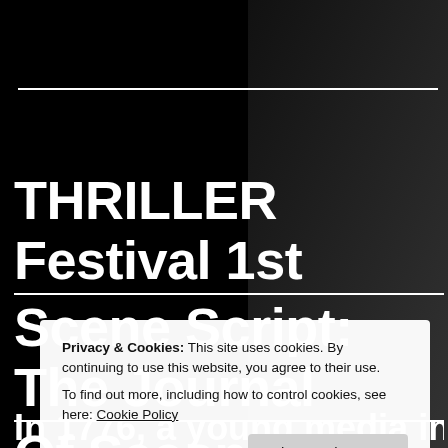THRILLER Festival 1st Scene Script: The Journal Of Second Lieutenant
Privacy & Cookies: This site uses cookies. By continuing to use this website, you agree to their use.
To find out more, including how to control cookies, see here: Cookie Policy
[Close and accept button]
In 1776, a young media in the Continental